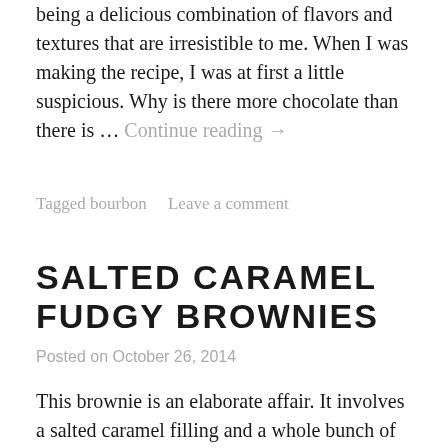being a delicious combination of flavors and textures that are irresistible to me. When I was making the recipe, I was at first a little suspicious. Why is there more chocolate than there is … Continue reading →
Tagged bourbon   Leave a comment
SALTED CARAMEL FUDGY BROWNIES
Posted on October 26, 2014
This brownie is an elaborate affair. It involves a salted caramel filling and a whole bunch of different ingredients I don't normally keep (heavy cream, sour cream, corn syrup), but the